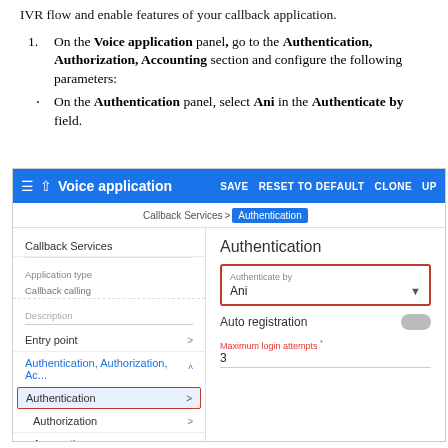IVR flow and enable features of your callback application.
On the Voice application panel, go to the Authentication, Authorization, Accounting section and configure the following parameters:
On the Authentication panel, select Ani in the Authenticate by field.
[Figure (screenshot): Screenshot of Voice application UI showing the Authentication panel with Authenticate by field set to Ani, and the left sidebar showing navigation items including Callback Services, Authentication, Authorization, Accounting, Translation rules, and Prompts & notifications.]